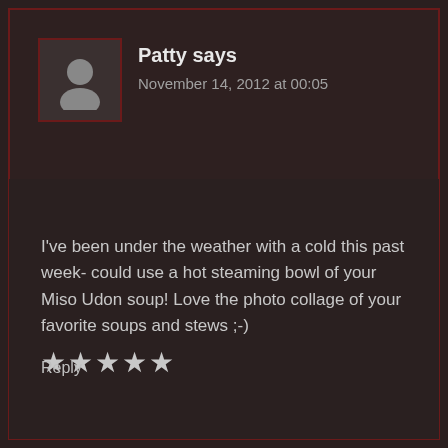Patty says
November 14, 2012 at 00:05
I've been under the weather with a cold this past week- could use a hot steaming bowl of your Miso Udon soup! Love the photo collage of your favorite soups and stews ;-)
★★★★★
Reply